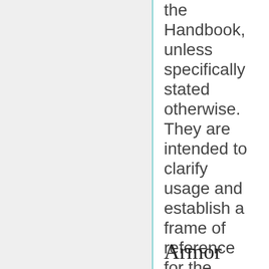the Handbook, unless specifically stated otherwise. They are intended to clarify usage and establish a frame of reference for the various materials used in SCA combat.
Armor